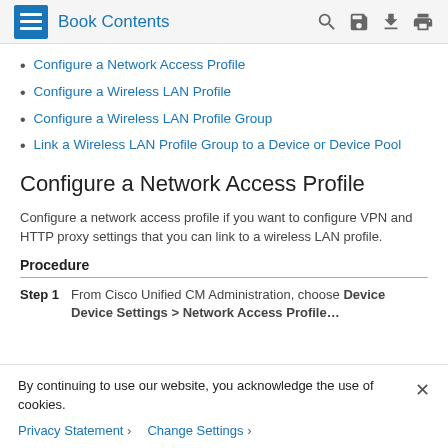Book Contents
Configure a Network Access Profile
Configure a Wireless LAN Profile
Configure a Wireless LAN Profile Group
Link a Wireless LAN Profile Group to a Device or Device Pool
Configure a Network Access Profile
Configure a network access profile if you want to configure VPN and HTTP proxy settings that you can link to a wireless LAN profile.
Procedure
Step 1  From Cisco Unified CM Administration, choose Device > Device Settings > Network Access Profile
By continuing to use our website, you acknowledge the use of cookies.
Privacy Statement >  Change Settings >